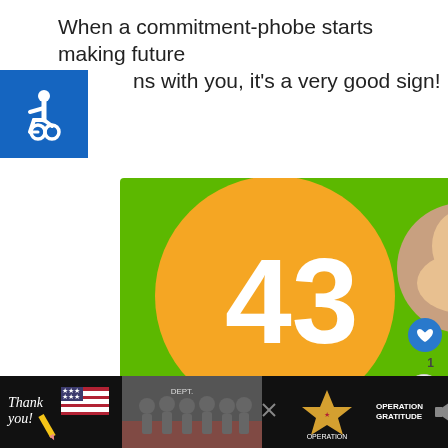When a commitment-phobe starts making future plans with you, it's a very good sign!
[Figure (illustration): Accessibility icon (wheelchair symbol) in blue square box on left side]
[Figure (infographic): Green advertisement banner: '43 CHILDREN A Day Are Diagnosed With Cancer in the U.S.' - Cookies for Kids' Cancer charity ad with photos of three children and a gingerbread cookie shape. Text 'Let's Get Baking' on right side.]
[Figure (infographic): What's Next panel: thumbnail image with text 'WHAT'S NEXT → If a Man Doesn't Invit...']
[Figure (infographic): Bottom banner ad: dark background with 'Thank you!' handwritten text, American flag imagery, group photo of firefighters in uniform, Operation Gratitude logo with star, and speaker/audio icon on right.]